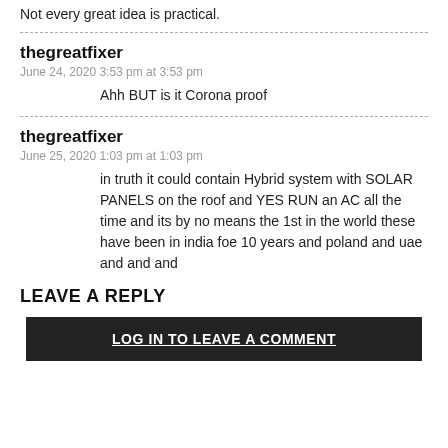Not every great idea is practical.
thegreatfixer
June 24, 2020 3:53 pm at 3:53 pm
Ahh BUT is it Corona proof
thegreatfixer
June 25, 2020 1:03 pm at 1:03 pm
in truth it could contain Hybrid system with SOLAR PANELS on the roof and YES RUN an AC all the time and its by no means the 1st in the world these have been in india foe 10 years and poland and uae and and and
LEAVE A REPLY
LOG IN TO LEAVE A COMMENT